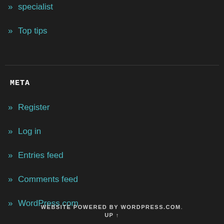» specialist
» Top tips
META
» Register
» Log in
» Entries feed
» Comments feed
» WordPress.com
WEBSITE POWERED BY WORDPRESS.COM. UP ↑